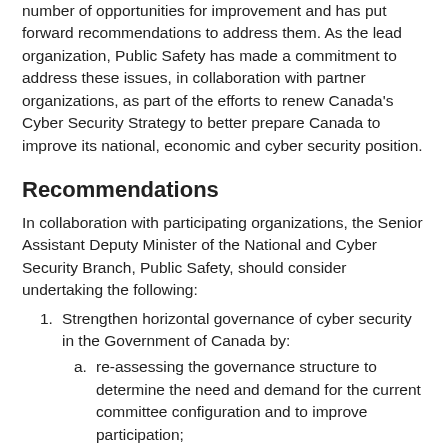number of opportunities for improvement and has put forward recommendations to address them. As the lead organization, Public Safety has made a commitment to address these issues, in collaboration with partner organizations, as part of the efforts to renew Canada's Cyber Security Strategy to better prepare Canada to improve its national, economic and cyber security position.
Recommendations
In collaboration with participating organizations, the Senior Assistant Deputy Minister of the National and Cyber Security Branch, Public Safety, should consider undertaking the following:
1. Strengthen horizontal governance of cyber security in the Government of Canada by:
a. re-assessing the governance structure to determine the need and demand for the current committee configuration and to improve participation;